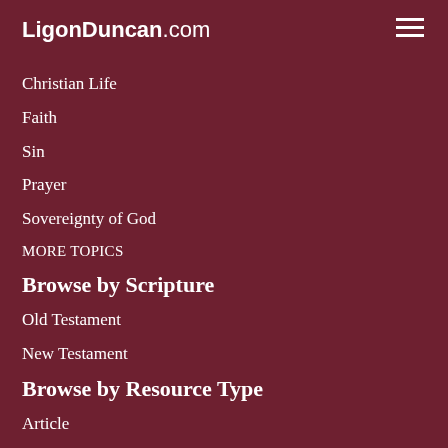LigonDuncan.com
Christian Life
Faith
Sin
Prayer
Sovereignty of God
MORE TOPICS
Browse by Scripture
Old Testament
New Testament
Browse by Resource Type
Article
Audio
News Item